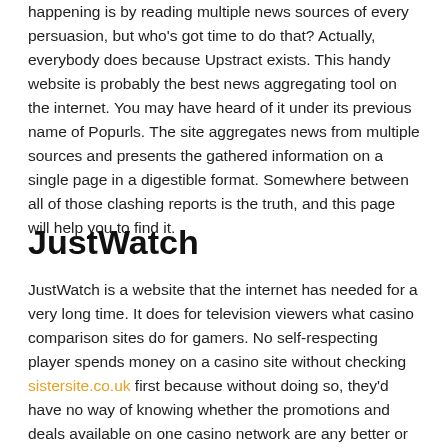happening is by reading multiple news sources of every persuasion, but who's got time to do that? Actually, everybody does because Upstract exists. This handy website is probably the best news aggregating tool on the internet. You may have heard of it under its previous name of Popurls. The site aggregates news from multiple sources and presents the gathered information on a single page in a digestible format. Somewhere between all of those clashing reports is the truth, and this page will help you to find it.
JustWatch
JustWatch is a website that the internet has needed for a very long time. It does for television viewers what casino comparison sites do for gamers. No self-respecting player spends money on a casino site without checking sistersite.co.uk first because without doing so, they'd have no way of knowing whether the promotions and deals available on one casino network are any better or worse than the deals on another. Swap "streaming service" for "casino network,"